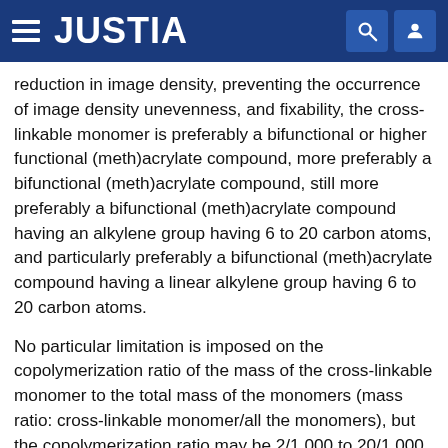JUSTIA
reduction in image density, preventing the occurrence of image density unevenness, and fixability, the cross-linkable monomer is preferably a bifunctional or higher functional (meth)acrylate compound, more preferably a bifunctional (meth)acrylate compound, still more preferably a bifunctional (meth)acrylate compound having an alkylene group having 6 to 20 carbon atoms, and particularly preferably a bifunctional (meth)acrylate compound having a linear alkylene group having 6 to 20 carbon atoms.
No particular limitation is imposed on the copolymerization ratio of the mass of the cross-linkable monomer to the total mass of the monomers (mass ratio: cross-linkable monomer/all the monomers), but the copolymerization ratio may be 2/1,000 to 20/1,000.